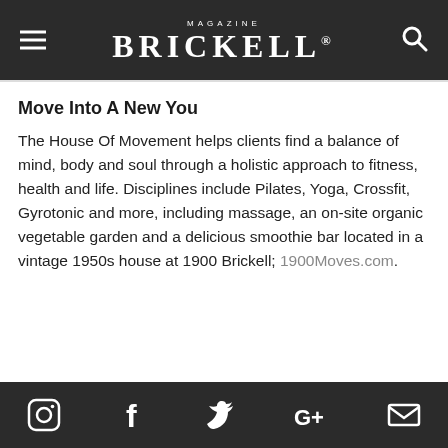MAGAZINE BRICKELL
Move Into A New You
The House Of Movement helps clients find a balance of mind, body and soul through a holistic approach to fitness, health and life. Disciplines include Pilates, Yoga, Crossfit, Gyrotonic and more, including massage, an on-site organic vegetable garden and a delicious smoothie bar located in a vintage 1950s house at 1900 Brickell; 1900Moves.com.
Social media icons: Instagram, Facebook, Twitter, Google+, Email